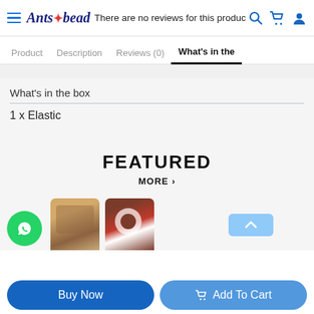Ants Bead — There are no reviews for this product.
What's in the
What's in the box
1 x Elastic
FEATURED
MORE >
[Figure (screenshot): Product images preview showing two bead items at bottom of page]
Buy Now
Add To Cart